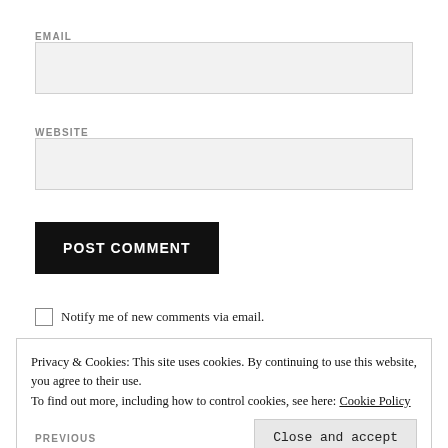EMAIL
[Figure (other): Empty text input field for EMAIL]
WEBSITE
[Figure (other): Empty text input field for WEBSITE]
POST COMMENT
Notify me of new comments via email.
Privacy & Cookies: This site uses cookies. By continuing to use this website, you agree to their use.
To find out more, including how to control cookies, see here: Cookie Policy
Close and accept
PREVIOUS